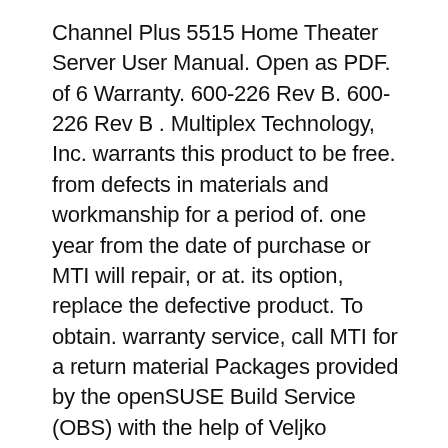Channel Plus 5515 Home Theater Server User Manual. Open as PDF. of 6 Warranty. 600-226 Rev B. 600-226 Rev B . Multiplex Technology, Inc. warrants this product to be free. from defects in materials and workmanship for a period of. one year from the date of purchase or MTI will repair, or at. its option, replace the defective product. To obtain. warranty service, call MTI for a return material Packages provided by the openSUSE Build Service (OBS) with the help of Veljko Stankov: Qt5 release: Qt5 GIT (debug)
Since 1983, the ChannelPlus product line has been acknowledged as the premiere brand in multi-room audio, plus data, telephone and video distribution systems. Homeowners can